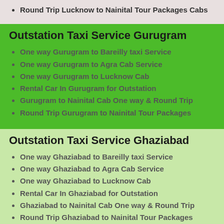Round Trip Lucknow to Nainital Tour Packages Cabs
Outstation Taxi Service Gurugram
One way Gurugram to Bareilly taxi Service
One way Gurugram to Agra Cab Service
One way Gurugram to Lucknow Cab
Rental Car In Gurugram for Outstation
Gurugram to Nainital Cab One way & Round Trip
Round Trip Gurugram to Nainital Tour Packages
Outstation Taxi Service Ghaziabad
One way Ghaziabad to Bareilly taxi Service
One way Ghaziabad to Agra Cab Service
One way Ghaziabad to Lucknow Cab
Rental Car In Ghaziabad for Outstation
Ghaziabad to Nainital Cab One way & Round Trip
Round Trip Ghaziabad to Nainital Tour Packages